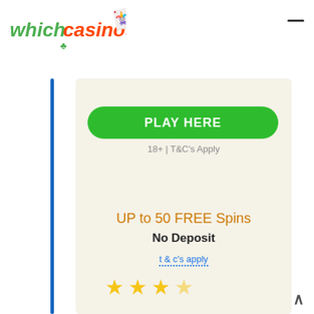[Figure (logo): whichcasinos logo with playing card and chip icons, green and orange text]
PLAY HERE
18+ | T&C's Apply
UP to 50 FREE Spins
No Deposit
t & c's apply
[Figure (illustration): Three gold/yellow star rating icons partially visible at bottom of card]